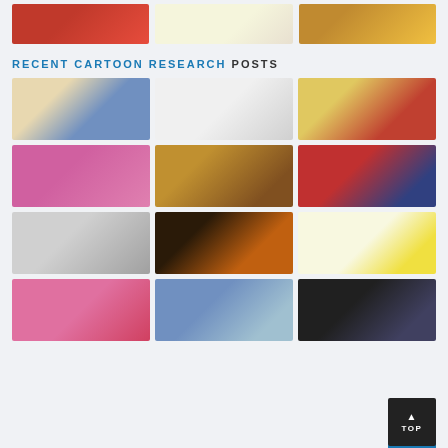[Figure (photo): Three cartoon images in a row at the top of the page]
RECENT CARTOON RESEARCH POSTS
[Figure (photo): Grid of cartoon character images - 4 rows of 3]
[Figure (other): TOP back-to-top button in bottom right corner]